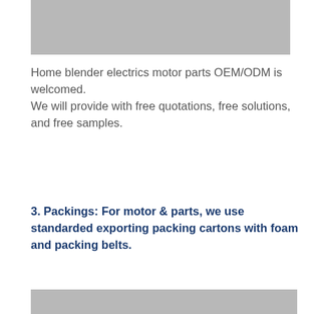[Figure (photo): Gray placeholder image at top of page]
Home blender electrics motor parts OEM/ODM is welcomed.
    We will provide with free quotations, free solutions, and free samples.
3. Packings: For motor & parts, we use standarded exporting packing cartons with foam and packing belts.
[Figure (photo): Gray placeholder image at bottom of page]